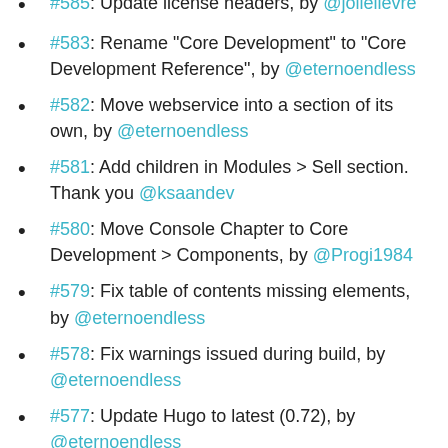#585: Update license headers, by @jolielievre
#583: Rename "Core Development" to "Core Development Reference", by @eternoendless
#582: Move webservice into a section of its own, by @eternoendless
#581: Add children in Modules > Sell section. Thank you @ksaandev
#580: Move Console Chapter to Core Development > Components, by @Progi1984
#579: Fix table of contents missing elements, by @eternoendless
#578: Fix warnings issued during build, by @eternoendless
#577: Update Hugo to latest (0.72), by @eternoendless
#576: Add title and children list in theme / reference section. Thank you @ksaandev